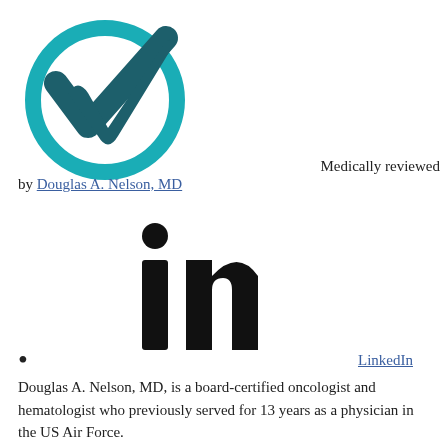[Figure (logo): Teal checkmark-in-circle logo]
Medically reviewed
by Douglas A. Nelson, MD
[Figure (logo): LinkedIn logo - black 'in' lettermark with dot above 'i']
• LinkedIn
Douglas A. Nelson, MD, is a board-certified oncologist and hematologist who previously served for 13 years as a physician in the US Air Force.